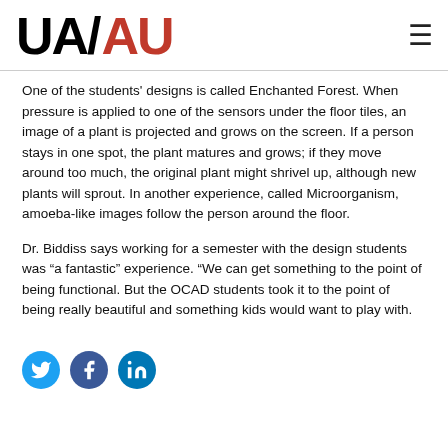UA/AU
One of the students' designs is called Enchanted Forest. When pressure is applied to one of the sensors under the floor tiles, an image of a plant is projected and grows on the screen. If a person stays in one spot, the plant matures and grows; if they move around too much, the original plant might shrivel up, although new plants will sprout. In another experience, called Microorganism, amoeba-like images follow the person around the floor.
Dr. Biddiss says working for a semester with the design students was “a fantastic” experience. “We can get something to the point of being functional. But the OCAD students took it to the point of being really beautiful and something kids would want to play with.
[Figure (other): Social media icons: Twitter (bird), Facebook (f), LinkedIn (in)]